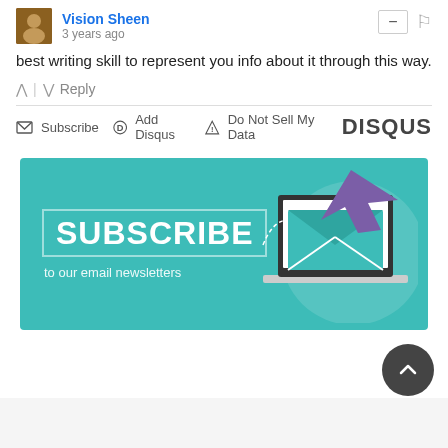Vision Sheen
3 years ago
best writing skill to represent you info about it through this way.
Reply
Subscribe  Add Disqus  Do Not Sell My Data  DISQUS
[Figure (illustration): Teal subscribe banner with laptop and email envelope graphic, text reads SUBSCRIBE to our email newsletters]